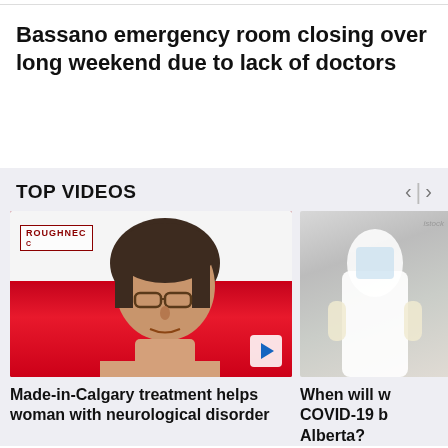Bassano emergency room closing over long weekend due to lack of doctors
TOP VIDEOS
[Figure (screenshot): Video thumbnail showing a woman with glasses and brown hair in front of a red and white Calgary Roughnecks banner. A blue play button appears in the bottom right corner.]
[Figure (screenshot): Partial video thumbnail showing a person in a white protective suit or gown in what appears to be a medical setting.]
Made-in-Calgary treatment helps woman with neurological disorder
When will w COVID-19 b Alberta?